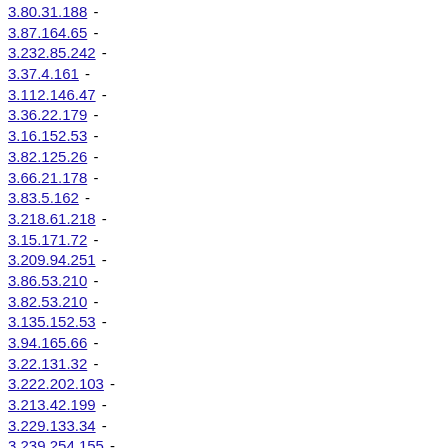3.80.31.188 -
3.87.164.65 -
3.232.85.242 -
3.37.4.161 -
3.112.146.47 -
3.36.22.179 -
3.16.152.53 -
3.82.125.26 -
3.66.21.178 -
3.83.5.162 -
3.218.61.218 -
3.15.171.72 -
3.209.94.251 -
3.86.53.210 -
3.82.53.210 -
3.135.152.53 -
3.94.165.66 -
3.22.131.32 -
3.222.202.103 -
3.213.42.199 -
3.229.133.34 -
3.239.254.155 -
3.97.255.156 -
3.224.59.216 -
3.96.231.132 -
3.137.210.111 -
3.223.221.122 -
3.216.201.102 -
3.212.151.52 -
3.214.38.195 -
3.235.83.133 -